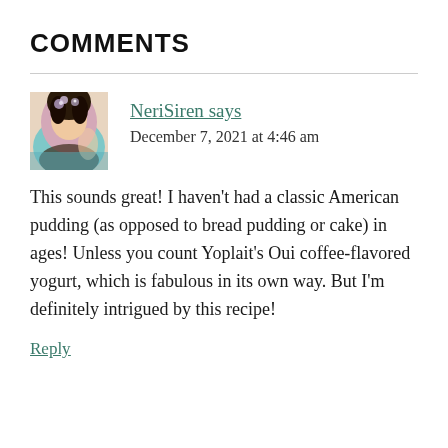COMMENTS
NeriSiren says
December 7, 2021 at 4:46 am
This sounds great! I haven’t had a classic American pudding (as opposed to bread pudding or cake) in ages! Unless you count Yoplait’s Oui coffee-flavored yogurt, which is fabulous in its own way. But I’m definitely intrigued by this recipe!
Reply